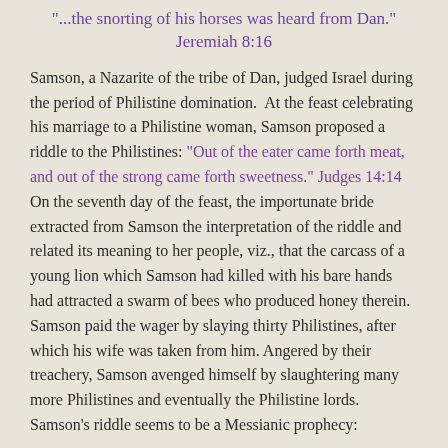"...the snorting of his horses was heard from Dan." Jeremiah 8:16
Samson, a Nazarite of the tribe of Dan, judged Israel during the period of Philistine domination. At the feast celebrating his marriage to a Philistine woman, Samson proposed a riddle to the Philistines: "Out of the eater came forth meat, and out of the strong came forth sweetness." Judges 14:14 On the seventh day of the feast, the importunate bride extracted from Samson the interpretation of the riddle and related its meaning to her people, viz., that the carcass of a young lion which Samson had killed with his bare hands had attracted a swarm of bees who produced honey therein. Samson paid the wager by slaying thirty Philistines, after which his wife was taken from him. Angered by their treachery, Samson avenged himself by slaughtering many more Philistines and eventually the Philistine lords. Samson's riddle seems to be a Messianic prophecy:
"The Philistines could not figure out the meaning of the riddle, because they had not seen the dead lion, out of...